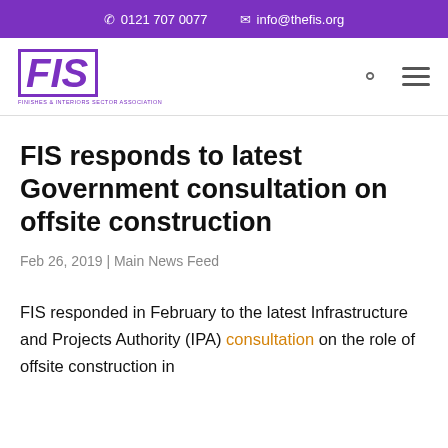0121 707 0077   info@thefis.org
[Figure (logo): FIS logo — bold italic purple lettering with border and small subtitle text below]
FIS responds to latest Government consultation on offsite construction
Feb 26, 2019 | Main News Feed
FIS responded in February to the latest Infrastructure and Projects Authority (IPA) consultation on the role of offsite construction in